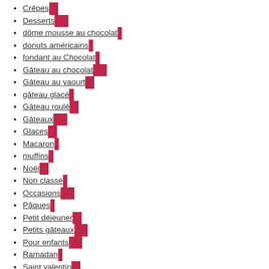Crêpes 24
Desserts 311
dôme mousse au chocolat 1
donuts américains 1
fondant au Chocolat 3
Gâteau au chocolat 101
Gâteau au yaourt 14
gâteau glacé 3
Gâteau roulé 15
Gâteaux 411
Glaces 18
Macaron 8
muffins 1
Noël 38
Non classé 8
Occasions 154
Pâques 1
Petit déjeuner 59
Petits gâteaux 183
Pour enfants 138
Ramadan 5
Saint valentin 11
Tartes 51
Tiramisu 8